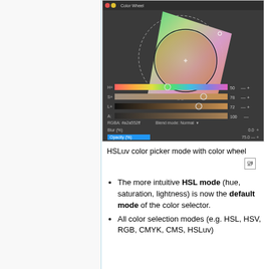[Figure (screenshot): HSLuv color picker mode with color wheel — a software UI screenshot showing a color wheel tool with a triangular/quadrilateral gamut shape overlaid on a dashed circle, and sliders below for H+, S+, L+, A, with values 50, 78, 72, 100, RGBA #a2a552ff, blend mode Normal, Blur 0.0, Opacity 75.0]
HSLuv color picker mode with color wheel
The more intuitive HSL mode (hue, saturation, lightness) is now the default mode of the color selector.
All color selection modes (e.g. HSL, HSV, RGB, CMYK, CMS, HSLuv)